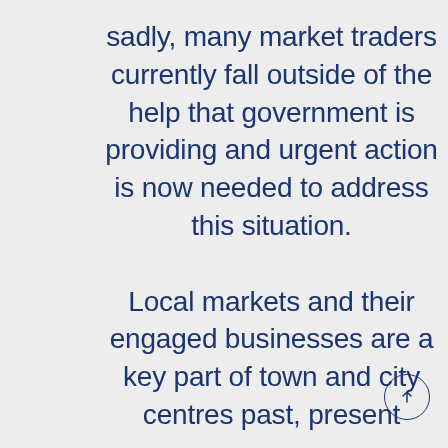sadly, many market traders currently fall outside of the help that government is providing and urgent action is now needed to address this situation.

Local markets and their engaged businesses are a key part of town and city centres past, present